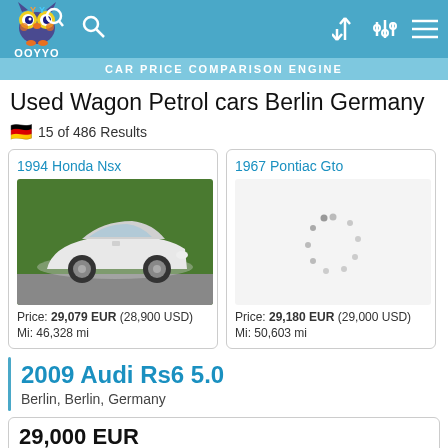OOYYO — CAR PRICE COMPARISON ENGINE
Used Wagon Petrol cars Berlin Germany
15 of 486 Results
1994 Honda Nsx
Price: 29,079 EUR (28,900 USD)
Mi: 46,328 mi
1967 Pontiac Gto
Price: 29,180 EUR (29,000 USD)
Mi: 50,603 mi
2009 Audi Rs6 5.0
Berlin, Berlin, Germany